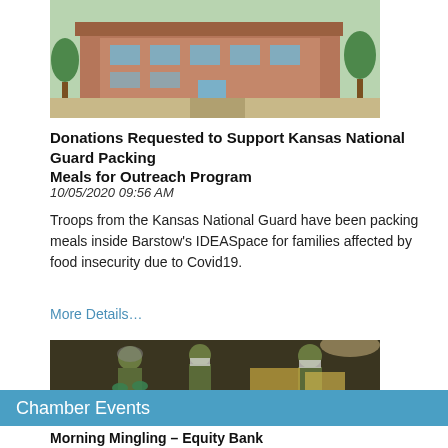[Figure (photo): Exterior photo of a brick building with trees and parking area]
Donations Requested to Support Kansas National Guard Packing Meals for Outreach Program
10/05/2020 09:56 AM
Troops from the Kansas National Guard have been packing meals inside Barstow's IDEASpace for families affected by food insecurity due to Covid19.
More Details…
[Figure (photo): Military personnel in camouflage uniforms and masks packing meals on a table with food items]
Chamber Events
Morning Mingling – Equity Bank